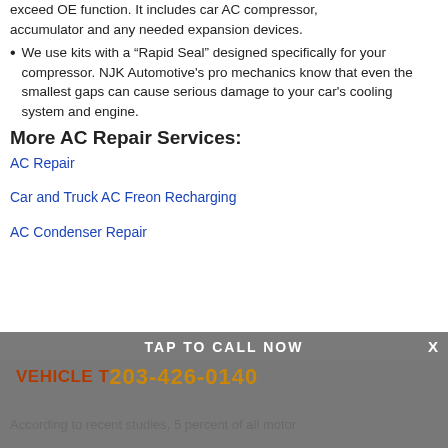exceed OE function. It includes car AC compressor, accumulator and any needed expansion devices.
We use kits with a "Rapid Seal" designed specifically for your compressor. NJK Automotive's pro mechanics know that even the smallest gaps can cause serious damage to your car's cooling system and engine.
More AC Repair Services:
AC Repair
Car and Truck AC Freon Recharging
AC Condenser Repair
TAP TO CALL NOW
VEHICLE TIPS 203-426-0140
According to recent studies, 5 percent of all motor